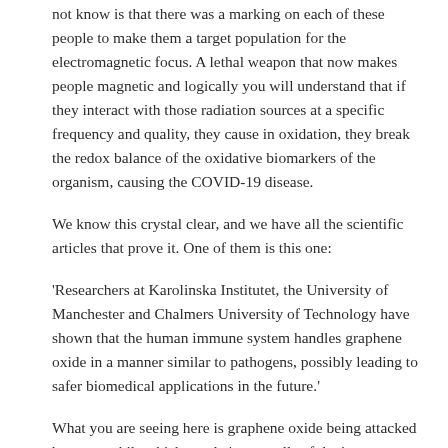not know is that there was a marking on each of these people to make them a target population for the electromagnetic focus. A lethal weapon that now makes people magnetic and logically you will understand that if they interact with those radiation sources at a specific frequency and quality, they cause in oxidation, they break the redox balance of the oxidative biomarkers of the organism, causing the COVID-19 disease.
We know this crystal clear, and we have all the scientific articles that prove it. One of them is this one:
'Researchers at Karolinska Institutet, the University of Manchester and Chalmers University of Technology have shown that the human immune system handles graphene oxide in a manner similar to pathogens, possibly leading to safer biomedical applications in the future.'
What you are seeing here is graphene oxide being attacked by neutrophils which are, let's say, cells of the immune system that